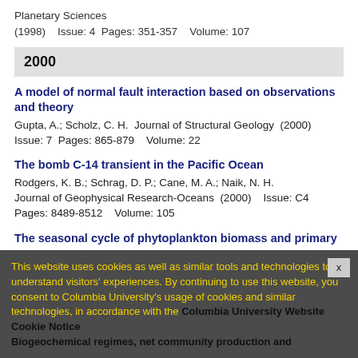Planetary Sciences
(1998)    Issue: 4  Pages: 351-357    Volume: 107
2000
A model of normal fault interaction based on observations and theory
Gupta, A.; Scholz, C. H.  Journal of Structural Geology  (2000)
Issue: 7  Pages: 865-879    Volume: 22
The bomb C-14 transient in the Pacific Ocean
Rodgers, K. B.; Schrag, D. P.; Cane, M. A.; Naik, N. H.
Journal of Geophysical Research-Oceans  (2000)    Issue: C4
Pages: 8489-8512    Volume: 105
The seasonal cycle of phytoplankton biomass and primary p
This website uses cookies as well as similar tools and technologies to understand visitors' experiences. By continuing to use this website, you consent to Columbia University's usage of cookies and similar technologies, in accordance with the Columbia University Website Cookie Notice
Biogeochemical regimes, net community production and